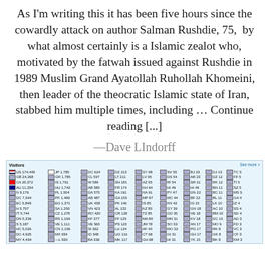As I'm writing this it has been five hours since the cowardly attack on author Salman Rushdie, 75, by what almost certainly is a Islamic zealot who, motivated by the fatwah issued against Rushdie in 1989 Muslim Grand Ayatollah Ruhollah Khomeini, then leader of the theocratic Islamic state of Iran, stabbed him multiple times, including … Continue reading [...]
—Dave LIndorff
[Figure (infographic): Visitors widget showing country flags and visitor counts for a website, with US 174,445 at top and many other countries listed in columns with flags and numbers.]